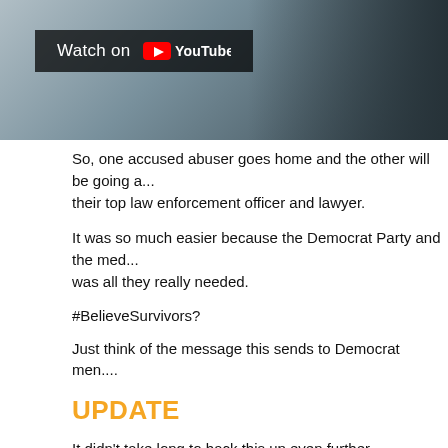[Figure (screenshot): YouTube video thumbnail showing a man in a suit with a 'Watch on YouTube' overlay button]
So, one accused abuser goes home and the other will be going as their top law enforcement officer and lawyer.
It was so much easier because the Democrat Party and the media was all they really needed.
#BelieveSurvivors?
Just think of the message this sends to Democrat men....
UPDATE
It didn't take long to back this up even further.
The embattled lieutenant governor of Virginia released a statement denying recent allegations of sexual assault and rape as the state has its top Democratic leaders embroiled in scandal.
"I say again without reservation: I did not sexually as...